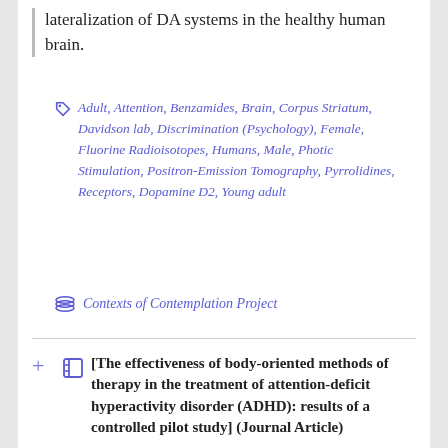lateralization of DA systems in the healthy human brain.
Adult, Attention, Benzamides, Brain, Corpus Striatum, Davidson lab, Discrimination (Psychology), Female, Fluorine Radioisotopes, Humans, Male, Photic Stimulation, Positron-Emission Tomography, Pyrrolidines, Receptors, Dopamine D2, Young adult
Contexts of Contemplation Project
[The effectiveness of body-oriented methods of therapy in the treatment of attention-deficit hyperactivity disorder (ADHD): results of a controlled pilot study] (Journal Article)